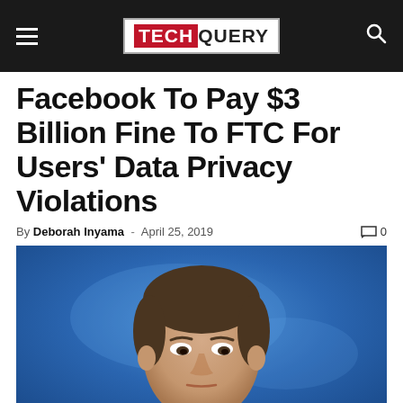TECHQUERY
Facebook To Pay $3 Billion Fine To FTC For Users' Data Privacy Violations
By Deborah Inyama - April 25, 2019  0
[Figure (photo): Photo of a man (Mark Zuckerberg) against a blue background, shown from shoulders up, looking downward with a serious expression.]